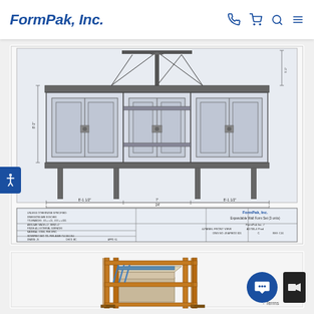FormPak, Inc.
[Figure (engineering-diagram): Engineering schematic/technical drawing of a multi-panel forming system (front view) showing three rectangular panel modules with lifting frame, dimensions, and title block at bottom.]
[Figure (engineering-diagram): 3D isometric CAD rendering of a single forming unit (orange/brown colored box frame structure with vertical posts and horizontal cross-members).]